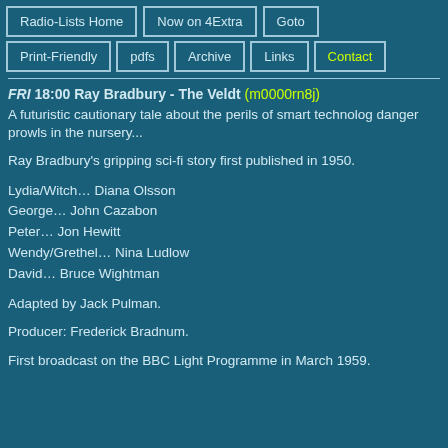Radio-Lists Home | Now on 4Extra | Goto | Print-Friendly | pdfs | Archive | Links | Contact
FRI 18:00 Ray Bradbury - The Veldt (m0000rn8j)
A futuristic cautionary tale about the perils of smart technology, danger prowls in the nursery...
Ray Bradbury's gripping sci-fi story first published in 1950.
Lydia/Witch… Diana Olsson
George… John Cazabon
Peter… Jon Hewitt
Wendy/Grethel… Nina Ludlow
David… Bruce Wightman
Adapted by Jack Pulman.
Producer: Frederick Bradnum.
First broadcast on the BBC Light Programme in March 1959.